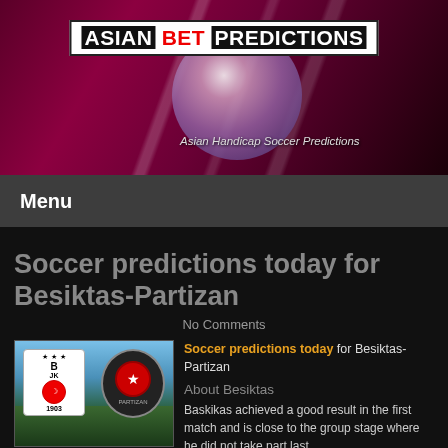[Figure (logo): Asian Bet Predictions website header banner with soccer ball image and diagonal white streaks on dark magenta background]
ASIAN BET PREDICTIONS
Asian Handicap Soccer Predictions
Menu
Soccer predictions today for Besiktas-Partizan
No Comments
[Figure (photo): Thumbnail image showing Besiktas (BJK) and Partizan club logos overlaid on a soccer stadium]
Soccer predictions today for Besiktas-Partizan
About Besiktas
Baskikas achieved a good result in the first match and is close to the group stage where he did not take part last